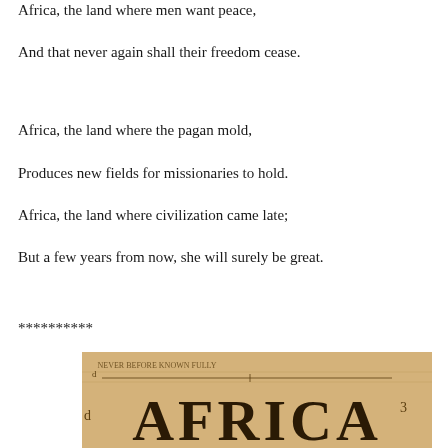Africa, the land where men want peace,
And that never again shall their freedom cease.
Africa, the land where the pagan mold,
Produces new fields for missionaries to hold.
Africa, the land where civilization came late;
But a few years from now, she will surely be great.
**********
[Figure (photo): Partial view of an old map of Africa with the word 'AFRICA' in large bold letters on a aged/sepia-toned background, with map lines and text visible above.]